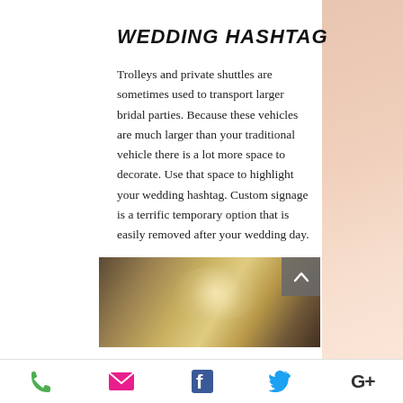WEDDING HASHTAG
Trolleys and private shuttles are sometimes used to transport larger bridal parties. Because these vehicles are much larger than your traditional vehicle there is a lot more space to decorate. Use that space to highlight your wedding hashtag. Custom signage is a terrific temporary option that is easily removed after your wedding day.
[Figure (photo): A blurred/bokeh photo with warm golden-brown tones, partially showing a lit background scene. A grey back-to-top button with an upward chevron arrow overlays the top-right corner of the image.]
Phone | Email | Facebook | Twitter | Google+